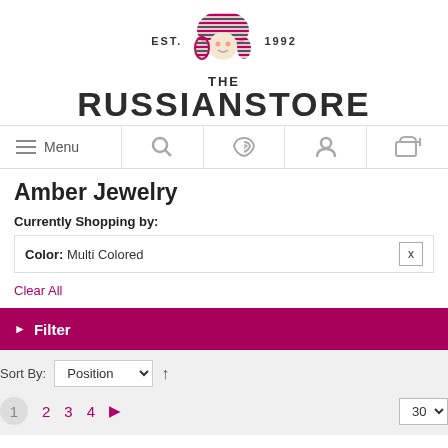[Figure (logo): The Russian Store logo with matryoshka doll illustration, EST. 1992 text, and THE RUSSIANSTORE brand name in bold black letters]
[Figure (other): Navigation bar with Menu (hamburger icon), Search (magnifier icon), RSS feed icon, User account icon, and Shopping cart icon]
Amber Jewelry
Currently Shopping by:
Color: Multi Colored  x
Clear All
Filter
Sort By: Position  ↑
1  2  3  4  ▶  30